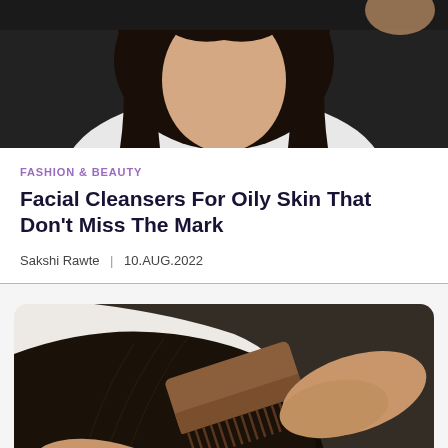[Figure (photo): Top photo of a woman with long dark wavy hair, wearing a white top, photographed against a dark background, cropped at chest/neck level]
FASHION & BEAUTY
Facial Cleansers For Oily Skin That Don't Miss The Mark
Sakshi Rawte | 10.AUG.2022
[Figure (photo): Bottom photo showing a hand combing through long straight dark hair with a wooden/brown comb, on a light grey background, with rounded top corners]